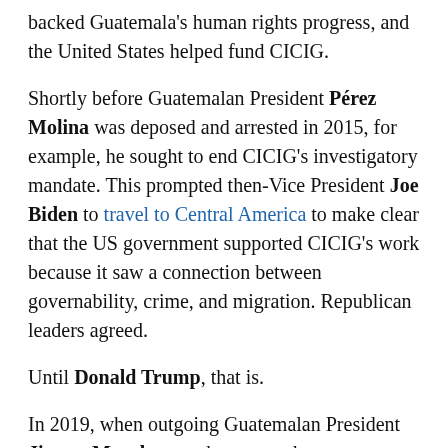backed Guatemala's human rights progress, and the United States helped fund CICIG.
Shortly before Guatemalan President Pérez Molina was deposed and arrested in 2015, for example, he sought to end CICIG's investigatory mandate. This prompted then-Vice President Joe Biden to travel to Central America to make clear that the US government supported CICIG's work because it saw a connection between governability, crime, and migration. Republican leaders agreed.
Until Donald Trump, that is.
In 2019, when outgoing Guatemalan President Jimmy Morales — who was under investigation by CICIG for illicit campaign financing — expelled CICIG's investigators and ended the commission's mandate, the Trump administration said nothing.